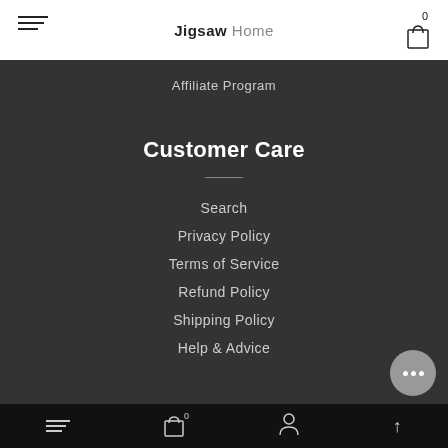Jigsaw Home
Affiliate Program
Customer Care
Search
Privacy Policy
Terms of Service
Refund Policy
Shipping Policy
Help & Advice
0